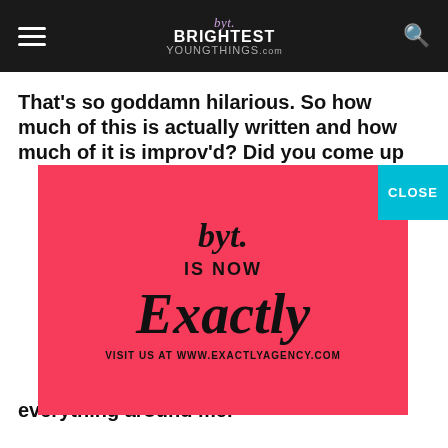byt. BRIGHTEST YOUNGTHINGS.com
That's so goddamn hilarious. So how much of this is actually written and how much of it is improv'd? Did you come up
[Figure (advertisement): Red advertisement panel for BYT / Exactly agency. Shows 'byt.' in cursive at top, then 'IS NOW' in black text, then large serif 'Exactly' text, then 'VISIT US AT WWW.EXACTLYAGENCY.COM' at bottom. Teal 'CLOSE' button appears at top-right corner of ad.]
everything around me.